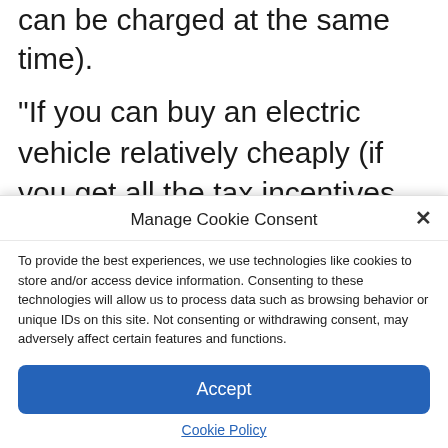can be charged at the same time).
“If you can buy an electric vehicle relatively cheaply (if you get all the tax incentives and benefits), the purchase price is affordable for a lot of people living in urban America and the real limit to the adoption is actually access to public charging infrastructure. ”,
Manage Cookie Consent
To provide the best experiences, we use technologies like cookies to store and/or access device information. Consenting to these technologies will allow us to process data such as browsing behavior or unique IDs on this site. Not consenting or withdrawing consent, may adversely affect certain features and functions.
Accept
Cookie Policy